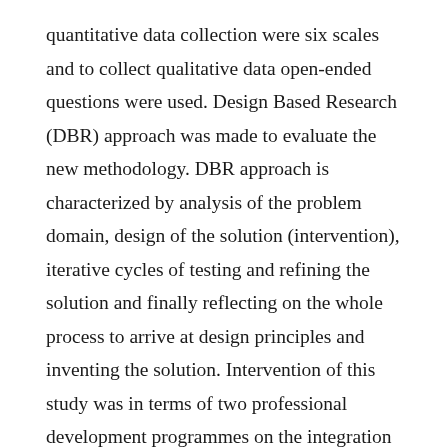quantitative data collection were six scales and to collect qualitative data open-ended questions were used. Design Based Research (DBR) approach was made to evaluate the new methodology. DBR approach is characterized by analysis of the problem domain, design of the solution (intervention), iterative cycles of testing and refining the solution and finally reflecting on the whole process to arrive at design principles and inventing the solution. Intervention of this study was in terms of two professional development programmes on the integration of ITS in instruction. The results of the first intervention are presented in this paper. Analysis of data formed the feedback to design the revised PDP. The results of the study are the feedback to the proposed revisions to the next PDP. The